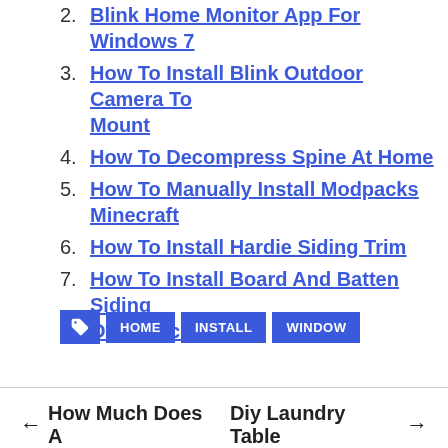2. Blink Home Monitor App For Windows 7
3. How To Install Blink Outdoor Camera To Mount
4. How To Decompress Spine At Home
5. How To Manually Install Modpacks Minecraft
6. How To Install Hardie Siding Trim
7. How To Install Board And Batten Siding Over Brick
HOME  INSTALL  WINDOW
← How Much Does A   Diy Laundry Table →